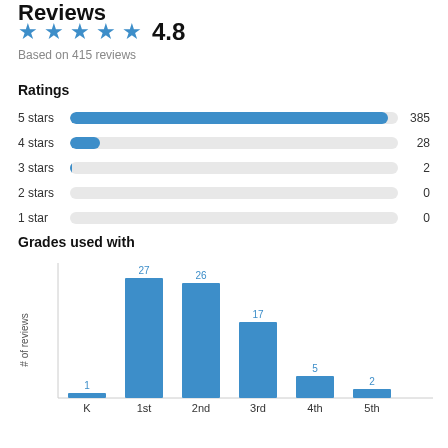Reviews
★★★★★ 4.8
Based on 415 reviews
Ratings
[Figure (bar-chart): Ratings]
Grades used with
[Figure (bar-chart): Grades used with]